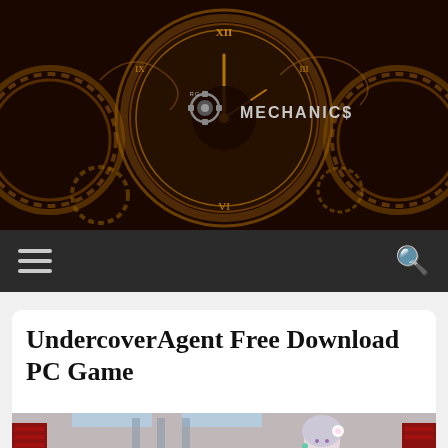[Figure (illustration): RG Mechanics website header banner showing steampunk-style gears and clock with Roman numerals in dark red/gold tones. The RG Mechanics logo with gear icon is centered in the banner.]
[Figure (screenshot): Website navigation bar in dark charcoal color with hamburger menu icon on the left and search (magnifying glass) icon on the right.]
UndercoverAgent Free Download PC Game
[Figure (illustration): Anime-style game screenshot showing a silver-haired female character in a server room environment with red server racks and glass walls.]